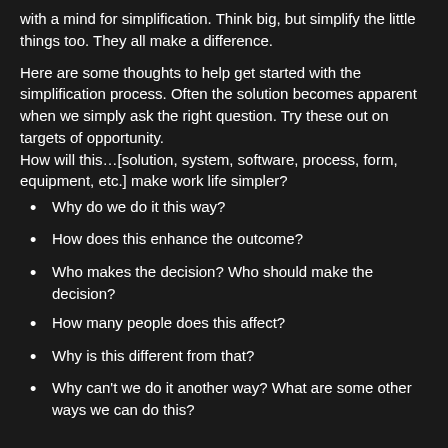with a mind for simplification.  Think big, but simplify the little things too.  They all make a difference.
Here are some thoughts to help get started with the simplification process.  Often the solution becomes apparent when we simply ask the right question.  Try these out on targets of opportunity.
How will this…[solution, system, software, process, form, equipment, etc.] make work life simpler?
Why do we do it this way?
How does this enhance the outcome?
Who makes the decision?  Who should make the decision?
How many people does this affect?
Why is this different from that?
Why can't we do it another way?  What are some other ways we can do this?